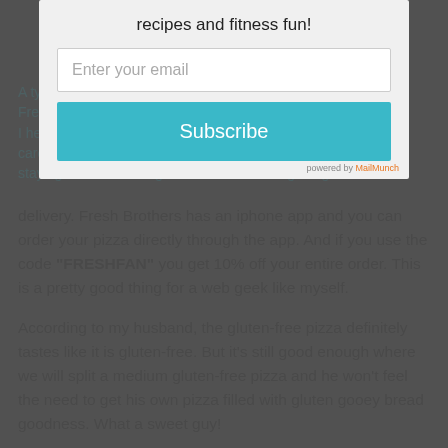recipes and fitness fun!
Enter your email
Subscribe
A typical Greek meal in our house: Fresh Brothers Gluten-Free Pizza and Chopped Vegan Salad. I heard Fresh Brothers had delicious pizza but hadn't cared enough about it to seek it out. One day my sister staying came on strong and we looked into getting delivery. Fresh Brothers has an iphone app and you can order your pizza directly through the app. And if you use the code "FRESHFAN" you get 10% off your entire order. This is a pretty good thing for a web geek like myself.
According to my husband, the gluten-free pizza definitely tastes like it is gluten-free. But it's still good enough where we will split a medium gluten-free pizza and he won't feel the need to get his own pizza filled with gluten gooey bread goodness. What a sweet guy!
Our typical dinner meal we order for delivery from Fresh